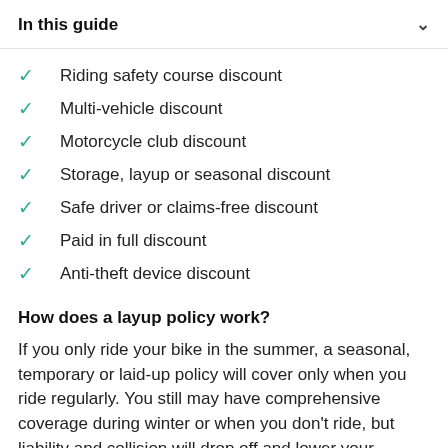In this guide
Riding safety course discount
Multi-vehicle discount
Motorcycle club discount
Storage, layup or seasonal discount
Safe driver or claims-free discount
Paid in full discount
Anti-theft device discount
How does a layup policy work?
If you only ride your bike in the summer, a seasonal, temporary or laid-up policy will cover only when you ride regularly. You still may have comprehensive coverage during winter or when you don't ride, but liability and collision will drop off and lower your premiums overall.